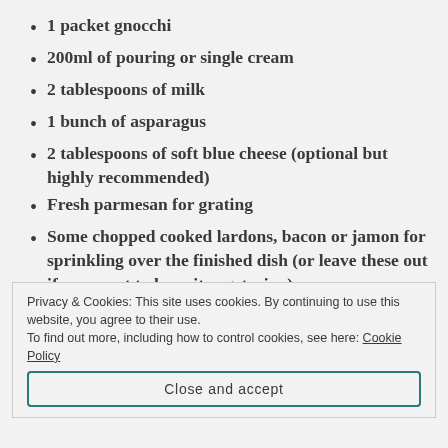1 packet gnocchi
200ml of pouring or single cream
2 tablespoons of milk
1 bunch of asparagus
2 tablespoons of soft blue cheese (optional but highly recommended)
Fresh parmesan for grating
Some chopped cooked lardons, bacon or jamon for sprinkling over the finished dish (or leave these out if you want to keep it vegetarian)
Privacy & Cookies: This site uses cookies. By continuing to use this website, you agree to their use.
To find out more, including how to control cookies, see here: Cookie Policy
Close and accept